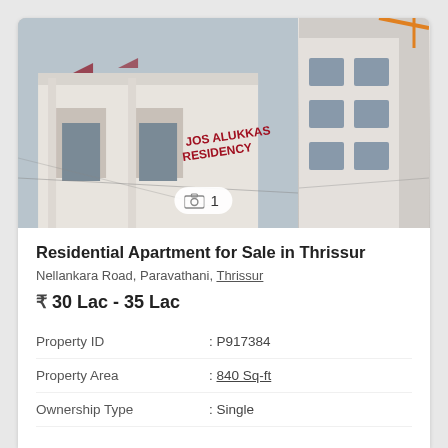[Figure (photo): Photo of Jos Alukkas Residency apartment building exterior, white multi-story building with red lettering. Image counter badge showing camera icon and '1'.]
Residential Apartment for Sale in Thrissur
Nellankara Road, Paravathani, Thrissur
₹ 30 Lac - 35 Lac
| Property ID | : P917384 |
| Property Area | : 840 Sq-ft |
| Ownership Type | : Single |